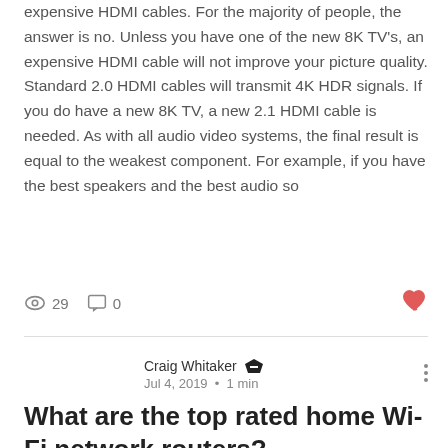expensive HDMI cables. For the majority of people, the answer is no. Unless you have one of the new 8K TV's, an expensive HDMI cable will not improve your picture quality. Standard 2.0 HDMI cables will transmit 4K HDR signals. If you do have a new 8K TV, a new 2.1 HDMI cable is needed. As with all audio video systems, the final result is equal to the weakest component. For example, if you have the best speakers and the best audio so
29  0
Craig Whitaker  Jul 4, 2019 · 1 min
What are the top rated home Wi-Fi network routers?
After last week, some clients were ready to upgrade their routers and asked what were the